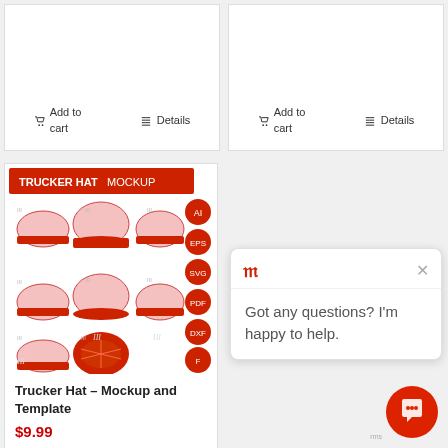[Figure (screenshot): Top portion of two product cards showing Add to cart and Details buttons]
Add to cart
Details
Add to cart
Details
[Figure (illustration): Trucker Hat Mockup product image showing multiple views of a red and white trucker hat with format badges (AI, EPS, SVG, PDF, DXF)]
Trucker Hat – Mockup and Template
$9.99
Add to cart
Details
[Figure (screenshot): Chat widget popup with logo, close button, and message: Got any questions? I'm happy to help.]
Got any questions? I'm happy to help.